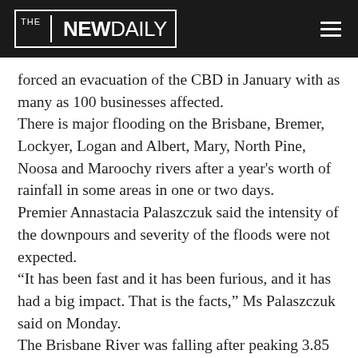THE NEW DAILY
forced an evacuation of the CBD in January with as many as 100 businesses affected.
There is major flooding on the Brisbane, Bremer, Lockyer, Logan and Albert, Mary, North Pine, Noosa and Maroochy rivers after a year's worth of rainfall in some areas in one or two days.
Premier Annastacia Palaszczuk said the intensity of the downpours and severity of the floods were not expected.
“It has been fast and it has been furious, and it has had a big impact. That is the facts,” Ms Palaszczuk said on Monday.
The Brisbane River was falling after peaking 3.85 metres on Monday morning, below the 2011 flood peak of 4.46m. But it